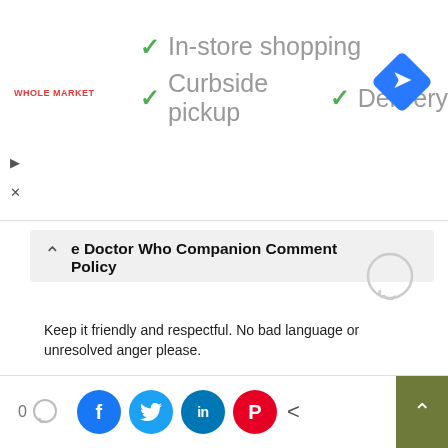[Figure (screenshot): Advertisement banner showing Whole Market logo with checkmarks for In-store shopping, Curbside pickup, and Delivery, with a blue navigation arrow icon on the right]
e Doctor Who Companion Comment Policy
Keep it friendly and respectful. No bad language or unresolved anger please.
Please read our Comment Policy before commenting.
We use cookies on our website to give you the most relevant experience by remembering your preferences and repeat visits. By clicking “Accept”, you consent to the use of ALL the cookies.
Do not sell my personal information.
[Figure (screenshot): Bottom bar with comment count (0), social share buttons (Facebook, Twitter, LinkedIn, Pinterest), back arrow, and scroll-to-top button]